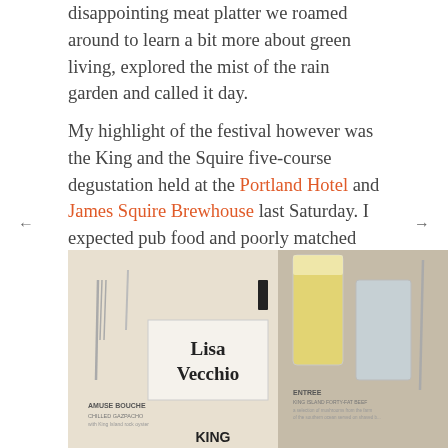disappointing meat platter we roamed around to learn a bit more about green living, explored the mist of the rain garden and called it day.
My highlight of the festival however was the King and the Squire five-course degustation held at the Portland Hotel and James Squire Brewhouse last Saturday. I expected pub food and poorly matched beer pairings but left with a stomach full of exquisite deliciousness and ten beers deep.
[Figure (photo): Photo of a restaurant table setting showing cutlery, glasses with beer and water, a name card reading 'Lisa Vecchio', and a menu featuring 'AMUSE BOUCHE' and 'ENTREE' sections, with 'KING ISLAND' text visible at the bottom.]